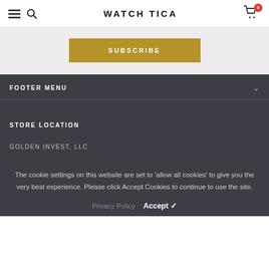WATCH TICA
[Figure (screenshot): Subscribe button in golden/mustard color with white text 'SUBSCRIBE' on a light gray background]
FOOTER MENU
STORE LOCATION
GOLDEN INVEST, LLC
The cookie settings on this website are set to 'allow all cookies' to give you the very best experience. Please click Accept Cookies to continue to use the site.
Privacy Policy  Accept ✓